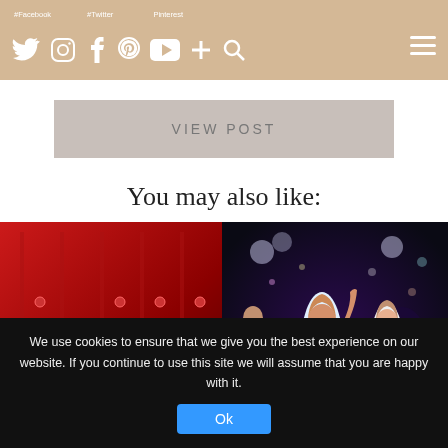Navigation bar with social icons (Twitter, Instagram, Facebook, Pinterest, YouTube, Plus, Search) and hamburger menu
VIEW POST
You may also like:
[Figure (photo): Photo of woman's legs in heels against a red background]
The Absolute Guide To Your Personal Valentine'
[Figure (photo): Photo of women in colorful dresses dancing at a party with dark background]
Scandinavian designer revives 1960s fashion splendour
We use cookies to ensure that we give you the best experience on our website. If you continue to use this site we will assume that you are happy with it.
Ok